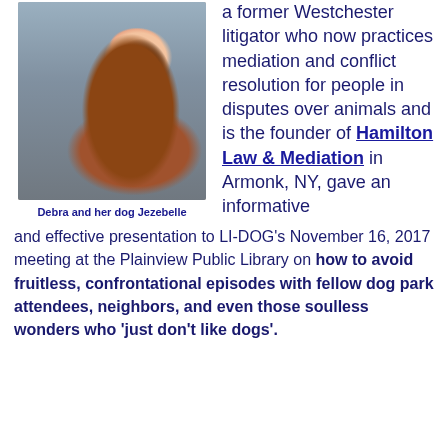[Figure (photo): Photo of Debra and her dog Jezebelle — a woman with dark hair and glasses in a dark top, hugging a golden/red Irish Setter dog against a grey background.]
Debra and her dog Jezebelle
a former Westchester litigator who now practices mediation and conflict resolution for people in disputes over animals and is the founder of Hamilton Law & Mediation in Armonk, NY, gave an informative and effective presentation to LI-DOG's November 16, 2017 meeting at the Plainview Public Library on how to avoid fruitless, confrontational episodes with fellow dog park attendees, neighbors, and even those soulless wonders who ‘just don’t like dogs’.